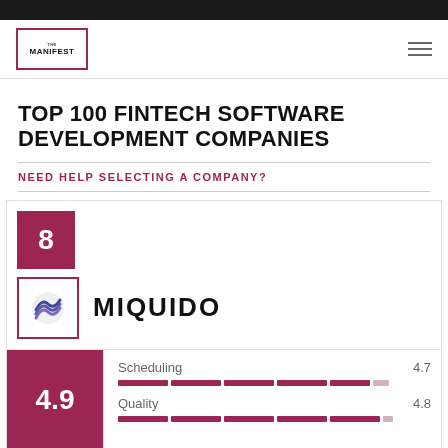The Manifest
TOP 100 FINTECH SOFTWARE DEVELOPMENT COMPANIES
NEED HELP SELECTING A COMPANY?
8
MIQUIDO
[Figure (logo): Miquido company logo - stylized wave/gem shape in blue and purple]
Scheduling 4.7
Quality 4.8
4.9